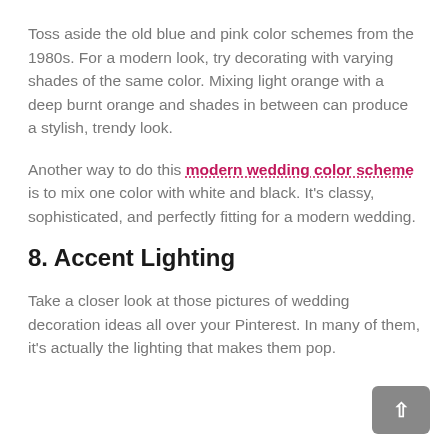Toss aside the old blue and pink color schemes from the 1980s. For a modern look, try decorating with varying shades of the same color. Mixing light orange with a deep burnt orange and shades in between can produce a stylish, trendy look.
Another way to do this modern wedding color scheme is to mix one color with white and black. It’s classy, sophisticated, and perfectly fitting for a modern wedding.
8. Accent Lighting
Take a closer look at those pictures of wedding decoration ideas all over your Pinterest. In many of them, it's actually the lighting that makes them pop.